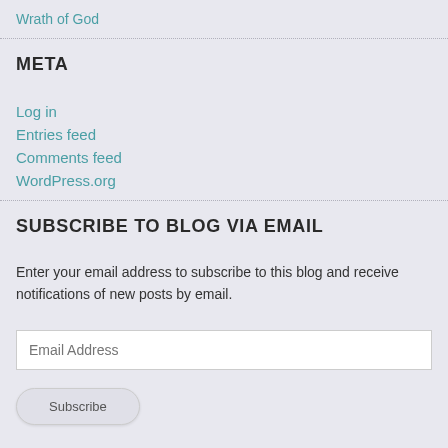Wrath of God
META
Log in
Entries feed
Comments feed
WordPress.org
SUBSCRIBE TO BLOG VIA EMAIL
Enter your email address to subscribe to this blog and receive notifications of new posts by email.
Email Address
Subscribe